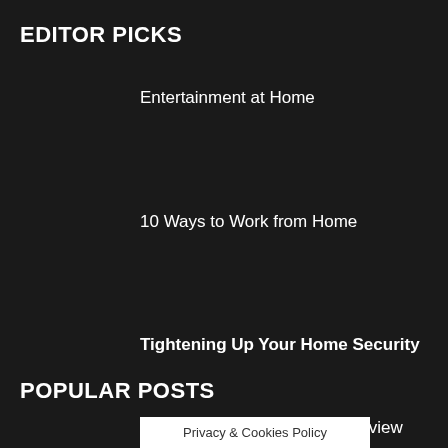EDITOR PICKS
Entertainment at Home
10 Ways to Work from Home
Tightening Up Your Home Security
POPULAR POSTS
Monarch Nostalgic Version Review
Privacy & Cookies Policy